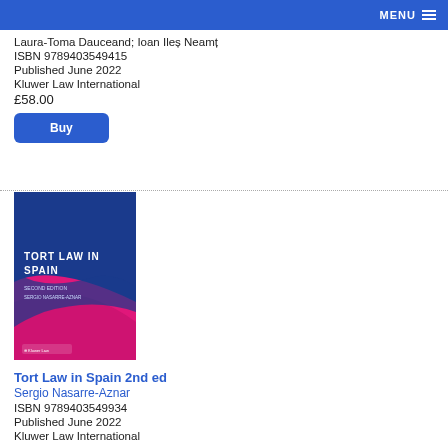MENU
Laura-Toma Dauceand; Ioan Ileș Neamț
ISBN 9789403549415
Published June 2022
Kluwer Law International
£58.00
Buy
[Figure (photo): Book cover of Tort Law in Spain 2nd edition by Sergio Nasarre-Aznar, published by Kluwer Law International. Dark blue top with white title text, transitioning to pink/magenta swooping design at the bottom.]
Tort Law in Spain 2nd ed
Sergio Nasarre-Aznar
ISBN 9789403549934
Published June 2022
Kluwer Law International